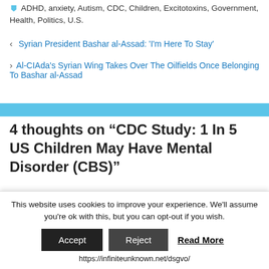ADHD, anxiety, Autism, CDC, Children, Excitotoxins, Government, Health, Politics, U.S.
Syrian President Bashar al-Assad: 'I'm Here To Stay'
Al-CIAda's Syrian Wing Takes Over The Oilfields Once Belonging To Bashar al-Assad
4 thoughts on "CDC Study: 1 In 5 US Children May Have Mental Disorder (CBS)"
Marilyn Gjerdrum
May 19, 2013 at 4:26 pm
This website uses cookies to improve your experience. We'll assume you're ok with this, but you can opt-out if you wish.
Accept   Reject   Read More
https://infiniteunknown.net/dsgvo/